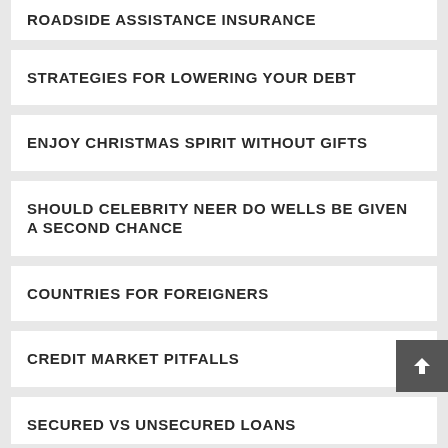ROADSIDE ASSISTANCE INSURANCE
STRATEGIES FOR LOWERING YOUR DEBT
ENJOY CHRISTMAS SPIRIT WITHOUT GIFTS
SHOULD CELEBRITY NEER DO WELLS BE GIVEN A SECOND CHANCE
COUNTRIES FOR FOREIGNERS
CREDIT MARKET PITFALLS
SECURED VS UNSECURED LOANS